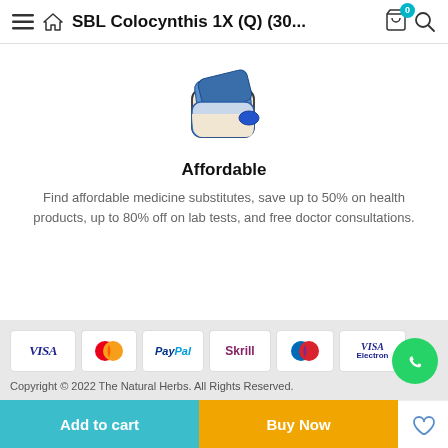SBL Colocynthis 1X (Q) (30...
[Figure (illustration): Wallet icon illustration: a blue and beige open wallet with a blue ellipse/card element on the front]
Affordable
Find affordable medicine substitutes, save up to 50% on health products, up to 80% off on lab tests, and free doctor consultations.
[Figure (infographic): Payment method logos row: VISA, MasterCard, PayPal, Skrill, Maestro, VISA Electron]
Copyright © 2022 The Natural Herbs. All Rights Reserved.